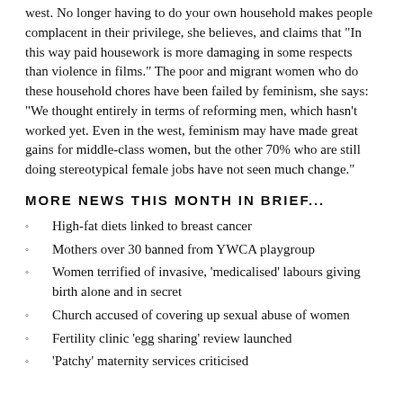west. No longer having to do your own household makes people complacent in their privilege, she believes, and claims that "In this way paid housework is more damaging in some respects than violence in films." The poor and migrant women who do these household chores have been failed by feminism, she says: "We thought entirely in terms of reforming men, which hasn't worked yet. Even in the west, feminism may have made great gains for middle-class women, but the other 70% who are still doing stereotypical female jobs have not seen much change."
MORE NEWS THIS MONTH IN BRIEF...
High-fat diets linked to breast cancer
Mothers over 30 banned from YWCA playgroup
Women terrified of invasive, 'medicalised' labours giving birth alone and in secret
Church accused of covering up sexual abuse of women
Fertility clinic 'egg sharing' review launched
'Patchy' maternity services criticised